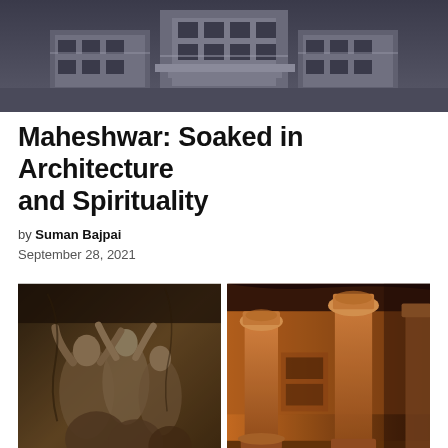[Figure (photo): Aerial or top-angle view of ornate stone temple architecture, dark and detailed carved stonework]
Maheshwar: Soaked in Architecture and Spirituality
by Suman Bajpai
September 28, 2021
[Figure (photo): Left: Ancient stone relief carvings of human figures in a cave or temple wall. Right: Interior of a cave temple with ornate stone columns and carved capitals in warm amber/brown tones.]